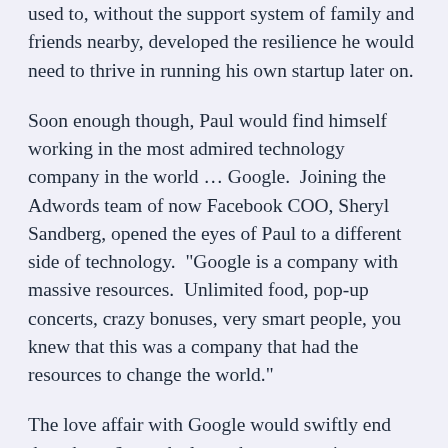used to, without the support system of family and friends nearby, developed the resilience he would need to thrive in running his own startup later on.
Soon enough though, Paul would find himself working in the most admired technology company in the world … Google.  Joining the Adwords team of now Facebook COO, Sheryl Sandberg, opened the eyes of Paul to a different side of technology.  “Google is a company with massive resources.  Unlimited food, pop-up concerts, crazy bonuses, very smart people, you knew that this was a company that had the resources to change the world.”
The love affair with Google would swiftly end though, as 6 months later, the opportunity to set up his own business in his home country was